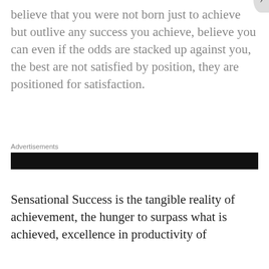believe that you were not born just to achieve but outlive any success you achieve, believe you can even if the odds are stacked up against you, the best are not satisfied by position, they are positioned for satisfaction.
Advertisements
[Figure (other): Dark advertisement banner bar]
Sensational Success is the tangible reality of achievement, the hunger to surpass what is achieved, excellence in productivity of
Privacy & Cookies: This site uses cookies. By continuing to use this website, you agree to their use.
To find out more, including how to control cookies, see here: Cookie Policy
Close and accept